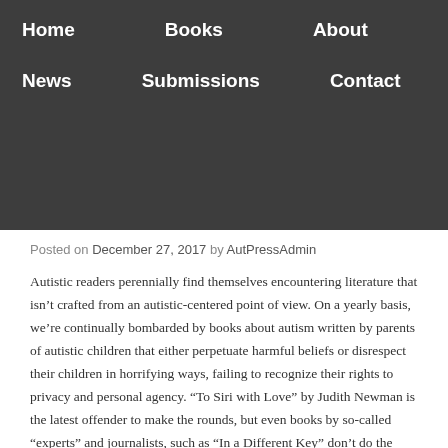Home  Books  About  News  Submissions  Contact
Posted on December 27, 2017 by AutPressAdmin
Autistic readers perennially find themselves encountering literature that isn't crafted from an autistic-centered point of view. On a yearly basis, we're continually bombarded by books about autism written by parents of autistic children that either perpetuate harmful beliefs or disrespect their children in horrifying ways, failing to recognize their rights to privacy and personal agency. “To Siri with Love” by Judith Newman is the latest offender to make the rounds, but even books by so-called “experts” and journalists, such as “In a Different Key” don’t do the topic justice. Fortunately, Autonomous Press is committed to offering solid alternatives written by autistic people.
The Real Experts Lives Up to Its Name